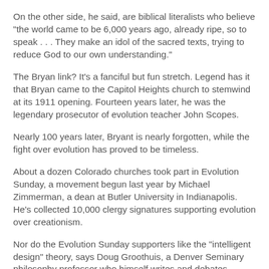On the other side, he said, are biblical literalists who believe "the world came to be 6,000 years ago, already ripe, so to speak . . . They make an idol of the sacred texts, trying to reduce God to our own understanding."
The Bryan link? It's a fanciful but fun stretch. Legend has it that Bryan came to the Capitol Heights church to stemwind at its 1911 opening. Fourteen years later, he was the legendary prosecutor of evolution teacher John Scopes.
Nearly 100 years later, Bryant is nearly forgotten, while the fight over evolution has proved to be timeless.
About a dozen Colorado churches took part in Evolution Sunday, a movement begun last year by Michael Zimmerman, a dean at Butler University in Indianapolis. He's collected 10,000 clergy signatures supporting evolution over creationism.
Nor do the Evolution Sunday supporters like the "intelligent design" theory, says Doug Groothuis, a Denver Seminary philosophy professor who himself writes and debates.